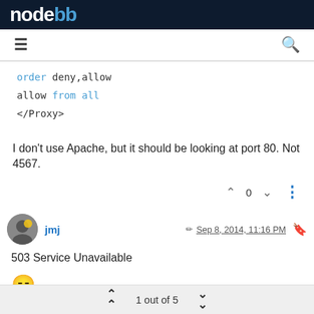NodeBB
order deny,allow
allow from all
</Proxy>
I don't use Apache, but it should be looking at port 80. Not 4567.
jmj  Sep 8, 2014, 11:16 PM
503 Service Unavailable
😑
but even using nginx it does not work...
1 out of 5